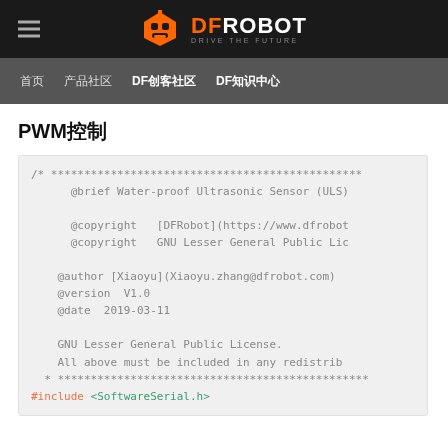DFRobot - Drive the Future
PWM控制
/* ***********************************************
    @brief Water-proof Ultrasonic Sensor (ULS)

    @copyright   [DFRobot](https://www.dfrobot...
    @copyright   GNU Lesser General Public Lic...

    @author [Xiaoyu](Xiaoyu.zhang@dfrobot.com)
    @version  V1.0
    @date  2019-03-11

    GNU Lesser General Public License.
    All above must be included in any redistrib...
  * ***********************************************
#include <SoftwareSerial.h>